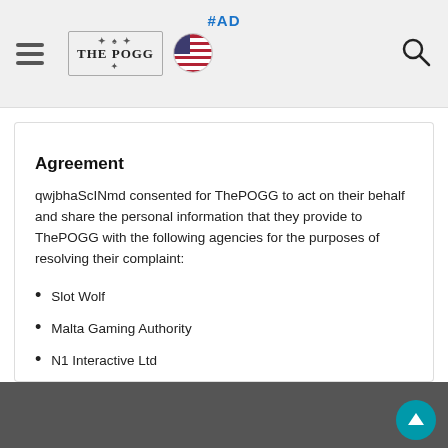#AD
[Figure (logo): ThePOGG logo with hamburger menu, US flag circle icon, and search icon]
Agreement
qwjbhaScINmd consented for ThePOGG to act on their behalf and share the personal information that they provide to ThePOGG with the following agencies for the purposes of resolving their complaint:
Slot Wolf
Malta Gaming Authority
N1 Interactive Ltd
June 1, 2022